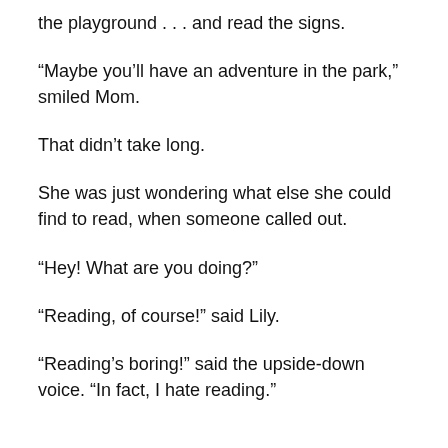the playground . . . and read the signs.
“Maybe you’ll have an adventure in the park,” smiled Mom.
That didn’t take long.
She was just wondering what else she could find to read, when someone called out.
“Hey! What are you doing?”
“Reading, of course!” said Lily.
“Reading’s boring!” said the upside-down voice. “In fact, I hate reading.”